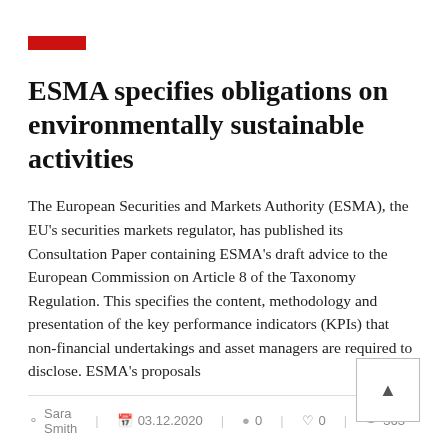[Figure (other): Small red rectangular tag/label at top of article]
ESMA specifies obligations on environmentally sustainable activities
The European Securities and Markets Authority (ESMA), the EU's securities markets regulator, has published its Consultation Paper containing ESMA's draft advice to the European Commission on Article 8 of the Taxonomy Regulation. This specifies the content, methodology and presentation of the key performance indicators (KPIs) that non-financial undertakings and asset managers are required to disclose. ESMA's proposals
Sara Smith | 03.12.2020 | 0 | 0 | 363